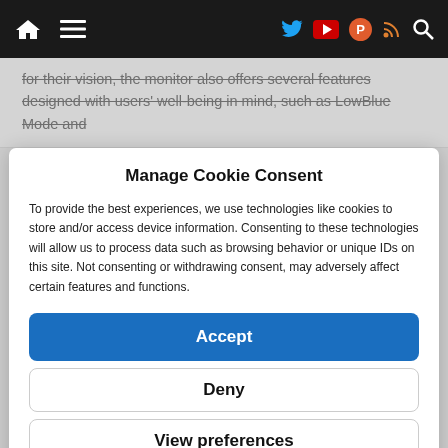Navigation bar with home, menu, Twitter, YouTube, ProductHunt, RSS, Search icons
for their vision, the monitor also offers several features designed with users' well-being in mind, such as LowBlue Mode and
Manage Cookie Consent
To provide the best experiences, we use technologies like cookies to store and/or access device information. Consenting to these technologies will allow us to process data such as browsing behavior or unique IDs on this site. Not consenting or withdrawing consent, may adversely affect certain features and functions.
Accept
Deny
View preferences
Cookie Policy   Privacy Policy and Cookies